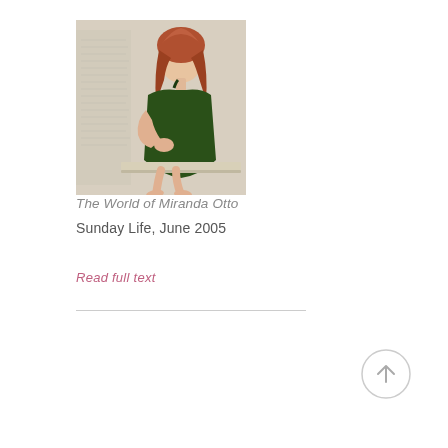[Figure (photo): A woman with long red hair wearing a dark green dress, seated on a light-colored bench/platform, barefoot, posed against a white background with faint text visible.]
The World of Miranda Otto
Sunday Life, June 2005
Read full text
[Figure (other): A circular scroll-to-top button with an upward arrow icon, light grey outline on white background.]